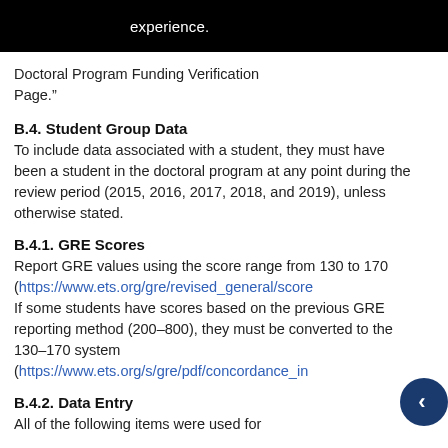experience.
Doctoral Program Funding Verification Page.”
B.4. Student Group Data
To include data associated with a student, they must have been a student in the doctoral program at any point during the review period (2015, 2016, 2017, 2018, and 2019), unless otherwise stated.
B.4.1. GRE Scores
Report GRE values using the score range from 130 to 170 (https://www.ets.org/gre/revised_general/score If some students have scores based on the previous GRE reporting method (200–800), they must be converted to the 130–170 system (https://www.ets.org/s/gre/pdf/concordance_in
B.4.2. Data Entry
All of the following items were used for